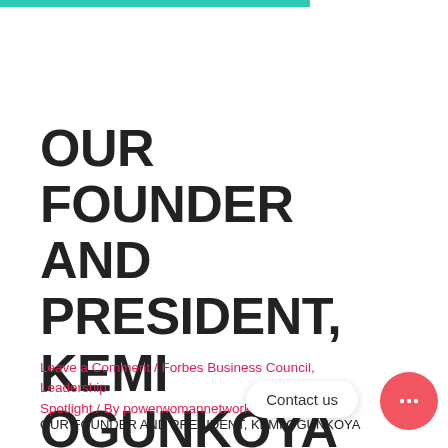OUR FOUNDER AND PRESIDENT, KEMI OGUNKOYA APPOINTED ON THE FORBES' BUSINESS COUNCIL
Leave a Comment / Forbes Business Council, Leadership Spotlight / By powerwomannetwork
OUR FOUNDER AND PRESIDENT, KEMI OGUNKOYA